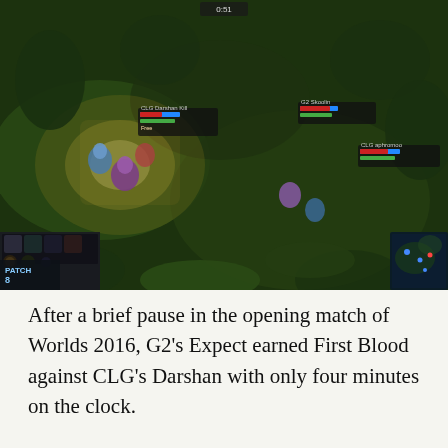[Figure (screenshot): Screenshot from League of Legends gameplay during Worlds 2016 opening match between G2 and CLG. Shows game characters in a jungle/forest area with HUD elements including player nameplates, health bars, minimap in bottom right, and PATCH/level info in bottom left. The scene shows multiple champions engaged in combat near a jungle camp.]
After a brief pause in the opening match of Worlds 2016, G2's Expect earned First Blood against CLG's Darshan with only four minutes on the clock.